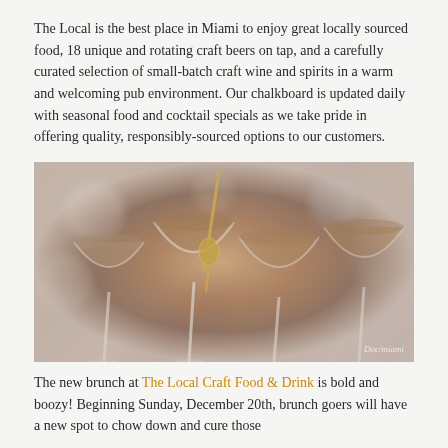The Local is the best place in Miami to enjoy great locally sourced food, 18 unique and rotating craft beers on tap, and a carefully curated selection of small-batch craft wine and spirits in a warm and welcoming pub environment. Our chalkboard is updated daily with seasonal food and cocktail specials as we take pride in offering quality, responsibly-sourced options to our customers.
[Figure (photo): Close-up photo of multiple cocktail glasses (martini/coupe style) filled with an amber/brown liquid, with a gold cocktail pick/spoon in the center glass. The image has a warm, slightly hazy tone with bokeh background. A small watermark is visible in the bottom right corner.]
The new brunch at The Local Craft Food & Drink is bold and boozy! Beginning Sunday, December 20th, brunch goers will have a new spot to chow down and cure those...